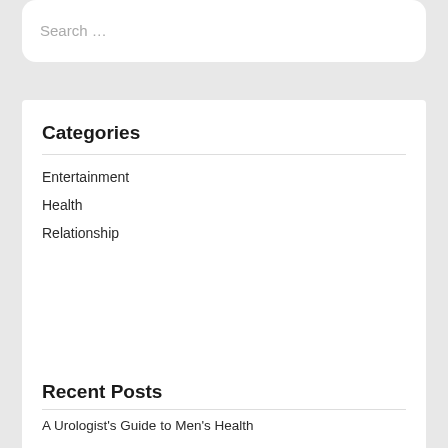Search …
Categories
Entertainment
Health
Relationship
Recent Posts
A Urologist's Guide to Men's Health